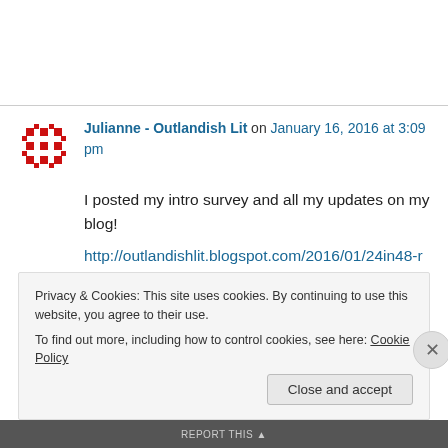Julianne - Outlandish Lit on January 16, 2016 at 3:09 pm
I posted my intro survey and all my updates on my blog! http://outlandishlit.blogspot.com/2016/01/24in48-readathon-jan-16-17-2016.html
Privacy & Cookies: This site uses cookies. By continuing to use this website, you agree to their use. To find out more, including how to control cookies, see here: Cookie Policy